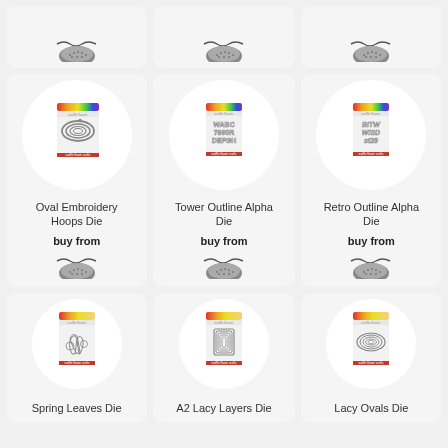[Figure (screenshot): 3x3 product grid of craft die-cut products. Top row shows partial cards (bottoms) with vendor logos. Middle row shows: Oval Embroidery Hoops Die, Tower Outline Alpha Die, Retro Outline Alpha Die — each with product image in white circle, name, 'buy from' text, and vendor logo. Bottom row shows: Spring Leaves Die, A2 Lacy Layers Die, Lacy Ovals Die — each with product image in white circle and name.]